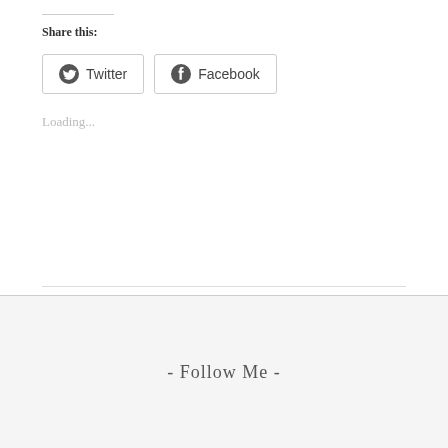Share this:
[Figure (other): Twitter and Facebook share buttons with icons]
Loading...
- Follow Me -